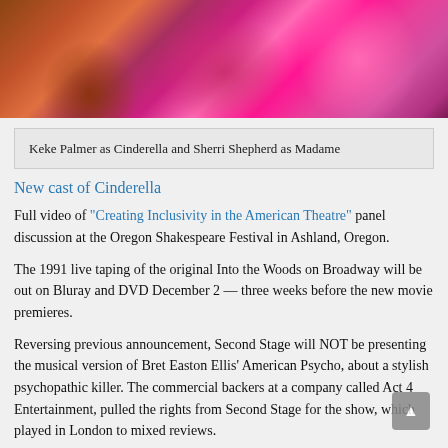[Figure (photo): Photo of theatrical performance showing two performers in elaborate colorful costumes with orange/brown and bright pink/magenta ruffled dresses on stage]
Keke Palmer as Cinderella and Sherri Shepherd as Madame
New cast of Cinderella
Full video of "Creating Inclusivity in the American Theatre" panel discussion at the Oregon Shakespeare Festival in Ashland, Oregon.
The 1991 live taping of the original Into the Woods on Broadway will be out on Bluray and DVD December 2 — three weeks before the new movie premieres.
Reversing previous announcement, Second Stage will NOT be presenting the musical version of Bret Easton Ellis' American Psycho, about a stylish psychopathic killer. The commercial backers at a company called Act 4 Entertainment, pulled the rights from Second Stage for the show, which played in London to mixed reviews.